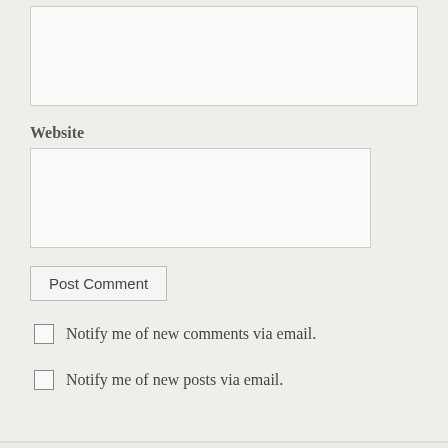[input box — top, unlabeled]
Website
[input box — Website]
Post Comment
Notify me of new comments via email.
Notify me of new posts via email.
Blogroll
ABC Home Healthcare